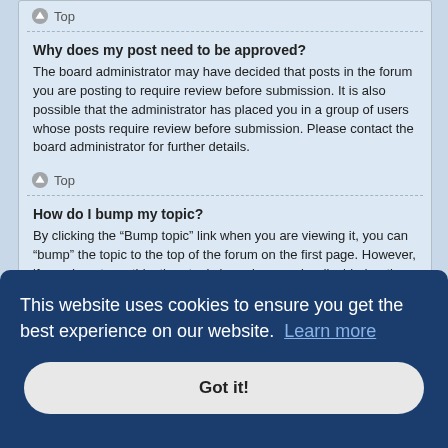Top
Why does my post need to be approved?
The board administrator may have decided that posts in the forum you are posting to require review before submission. It is also possible that the administrator has placed you in a group of users whose posts require review before submission. Please contact the board administrator for further details.
Top
How do I bump my topic?
By clicking the “Bump topic” link when you are viewing it, you can “bump” the topic to the top of the forum on the first page. However, if you do not see this, then topic bumping may be disabled or the time allowance between bumps has not yet been reached. It is also possible to bump ...rd
This website uses cookies to ensure you get the best experience on our website. Learn more
Got it!
What is BBCode?